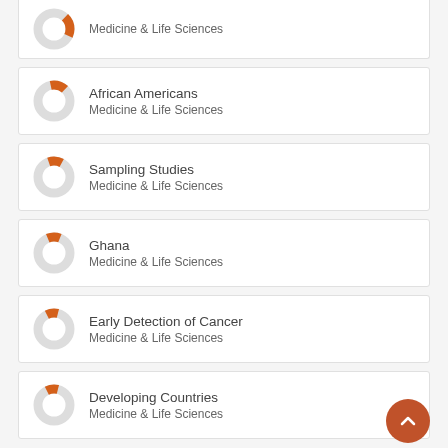[Figure (donut-chart): Partial donut chart icon with orange segment, Medicine & Life Sciences category]
Medicine & Life Sciences
[Figure (donut-chart): Partial donut chart icon with orange segment for African Americans]
African Americans
Medicine & Life Sciences
[Figure (donut-chart): Partial donut chart icon with orange segment for Sampling Studies]
Sampling Studies
Medicine & Life Sciences
[Figure (donut-chart): Partial donut chart icon with orange segment for Ghana]
Ghana
Medicine & Life Sciences
[Figure (donut-chart): Partial donut chart icon with orange segment for Early Detection of Cancer]
Early Detection of Cancer
Medicine & Life Sciences
[Figure (donut-chart): Partial donut chart icon with orange segment for Developing Countries]
Developing Countries
Medicine & Life Sciences
View full fingerprint ›